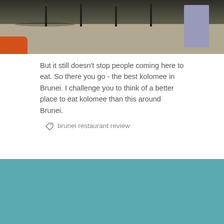[Figure (photo): Interior photo of a restaurant dining area showing tables and chairs on a concrete floor, with a person visible in the background. An orange object is visible at the bottom left corner.]
But it still doesn't stop people coming here to eat. So there you go - the best kolomee in Brunei. I challenge you to think of a better place to eat kolomee than this around Brunei.
brunei restaurant review